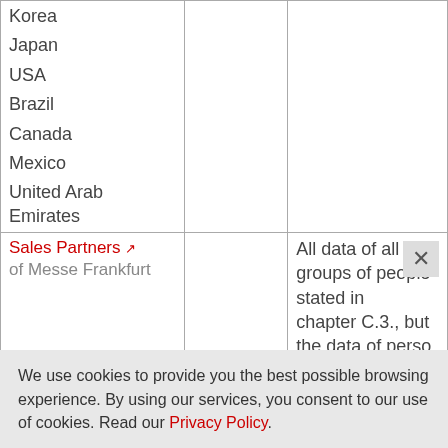|  |  |  |
| --- | --- | --- |
| Korea
Japan
USA
Brazil
Canada
Mexico
United Arab Emirates |  |  |
| Sales Partners ↗
of Messe Frankfurt |  | All data of all groups of people stated in chapter C.3., but the data of perso |
We use cookies to provide you the best possible browsing experience. By using our services, you consent to our use of cookies. Read our Privacy Policy.